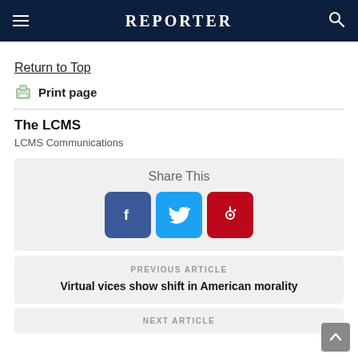REPORTER
Return to Top
Print page
The LCMS
LCMS Communications
Share This
PREVIOUS ARTICLE
Virtual vices show shift in American morality
NEXT ARTICLE